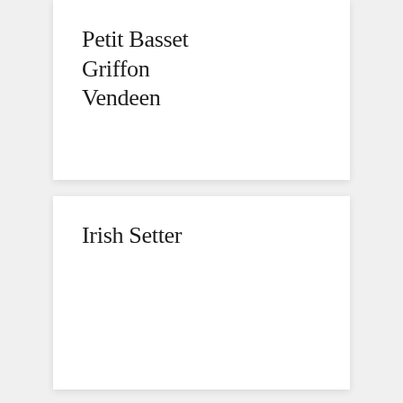Petit Basset Griffon Vendeen
Irish Setter
Black French Bulldog
Great Pyrenees